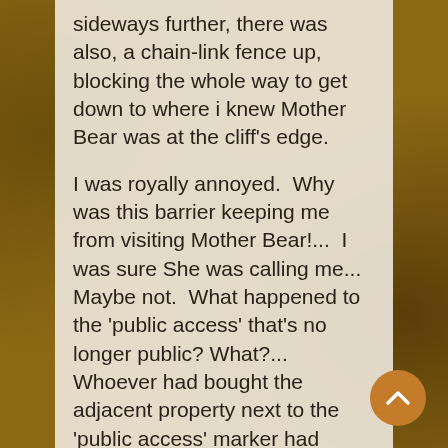sideways further, there was also, a chain-link fence up, blocking the whole way to get down to where i knew Mother Bear was at the cliff's edge.

I was royally annoyed.  Why was this barrier keeping me from visiting Mother Bear!...  I was sure She was calling me... Maybe not.  What happened to the 'public access' that's no longer public? What?... Whoever had bought the adjacent property next to the 'public access' marker had completely blocked any entry down to cliff's edge anymore... How dare they?